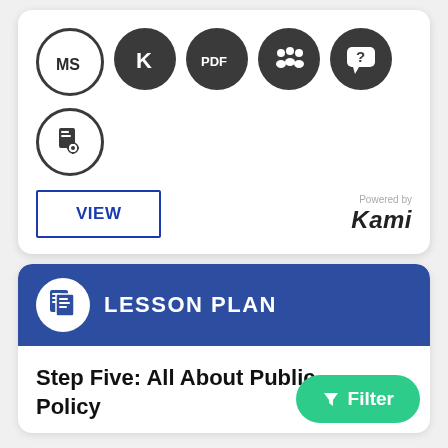[Figure (illustration): Row of five circular icons: MS (outline circle), K (dark filled), PDF (dark filled), group of people (dark filled), question mark speech bubble (dark filled). Below: one circular icon with document/settings gear (outline circle).]
[Figure (logo): VIEW button (outlined) and Powered by Kami logo on the right]
[Figure (illustration): Lesson Plan header banner with document icon and text LESSON PLAN on dark blue background]
Step Five: All About Public Policy
[Figure (illustration): Green Filter button with funnel icon]